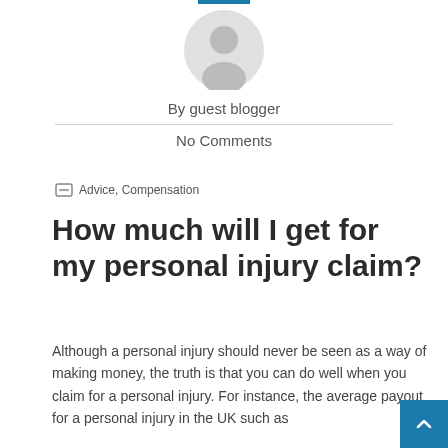[Figure (illustration): Grey circular avatar/profile placeholder icon]
By guest blogger
No Comments
Advice, Compensation
How much will I get for my personal injury claim?
Although a personal injury should never be seen as a way of making money, the truth is that you can do well when you claim for a personal injury. For instance, the average payout for a personal injury in the UK such as